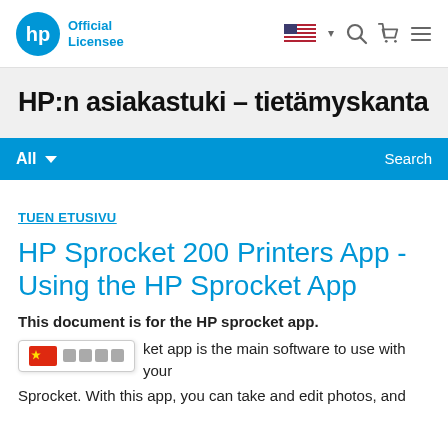HP Official Licensee
HP:n asiakastuki – tietämyskanta
All ▾  Search
TUEN ETUSIVU
HP Sprocket 200 Printers App - Using the HP Sprocket App
This document is for the HP sprocket app.
The HP Sprocket app is the main software to use with your Sprocket. With this app, you can take and edit photos, and